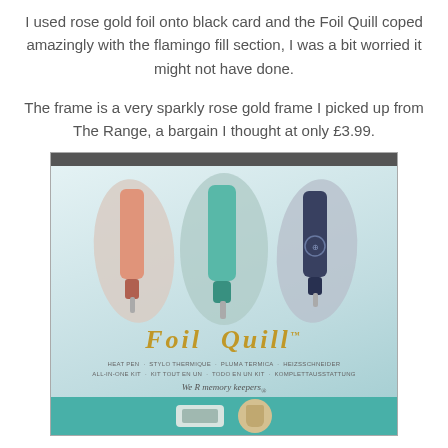I used rose gold foil onto black card and the Foil Quill coped amazingly with the flamingo fill section, I was a bit worried it might not have done.
The frame is a very sparkly rose gold frame I picked up from The Range, a bargain I thought at only £3.99.
[Figure (photo): Product packaging photo of the Foil Quill set by We R Memory Keepers, showing three pens (pink, teal, navy) in leaf-shaped cutouts on a teal/light blue background, with gold 'Foil Quill' branding text, product description in multiple languages, brand logo, and a cutting machine illustration at the bottom.]